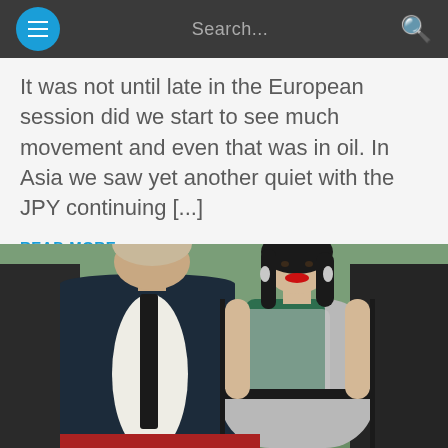Search...
It was not until late in the European session did we start to see much movement and even that was in oil. In Asia we saw yet another quiet with the JPY continuing [...]
READ MORE
MARKET TALK
[Figure (photo): A couple at a formal event. A man in a dark navy suit with black tie stands next to a woman in a sparkly green and silver patterned dress with black hair and red lipstick.]